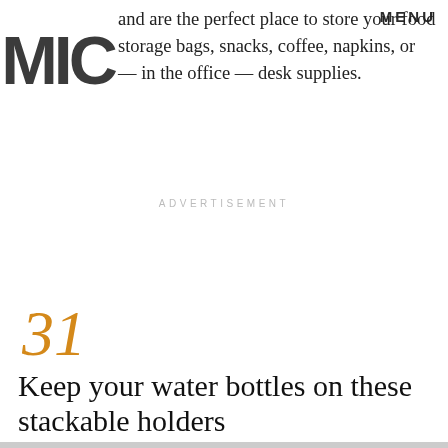MIC | MENU
and are the perfect place to store your food storage bags, snacks, coffee, napkins, or — in the office — desk supplies.
ADVERTISEMENT
31
Keep your water bottles on these stackable holders